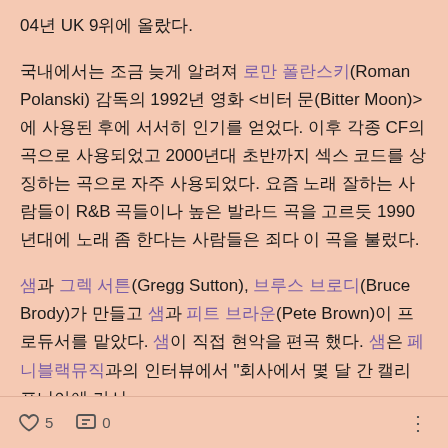04년 UK 9위에 올랐다.
국내에서는 조금 늦게 알려져 로만 폴란스키(Roman Polanski) 감독의 1992년 영화 <비터 문(Bitter Moon)>에 사용된 후에 서서히 인기를 얻었다. 이후 각종 CF의 곡으로 사용되었고 2000년대 초반까지 섹스 코드를 상징하는 곡으로 자주 사용되었다. 요즘 노래 잘하는 사람들이 R&B 곡들이나 높은 발라드 곡을 고르듯 1990년대에 노래 좀 한다는 사람들은 죄다 이 곡을 불렀다.
샘과 그렉 서튼(Gregg Sutton), 브루스 브로디(Bruce Brody)가 만들고 샘과 피트 브라운(Pete Brown)이 프로듀서를 맡았다. 샘이 직접 현악을 편곡 했다. 샘은 페니블랙뮤직과의 인터뷰에서 "회사에서 몇 달 간 캘리포니아에 가서
♡ 5   ··· 0   ⋮